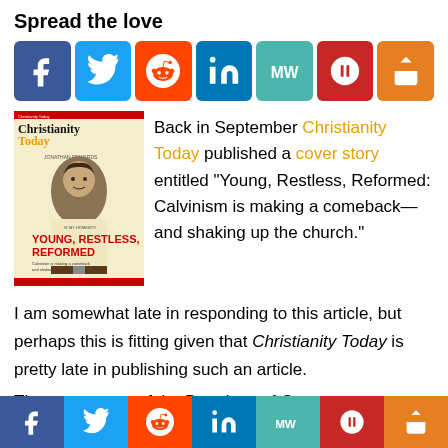Spread the love
[Figure (infographic): Row of social media share buttons: Facebook (blue), Twitter (light blue), Reddit (orange), LinkedIn (dark blue), MeWe (teal), Parler (dark red), Share (orange)]
[Figure (photo): Christianity Today magazine cover featuring 'Young, Restless, Reformed' cover story with Jonathan Edwards graphic on a t-shirt]
Back in September Christianity Today published a cover story entitled “Young, Restless, Reformed: Calvinism is making a comeback—and shaking up the church.”
I am somewhat late in responding to this article, but perhaps this is fitting given that Christianity Today is pretty late in publishing such an article.
The resurgence of the Doctrines of Grace among
[Figure (infographic): Bottom bar of social media share buttons: Facebook, Twitter, Reddit, LinkedIn, MeWe, Parler, Share]